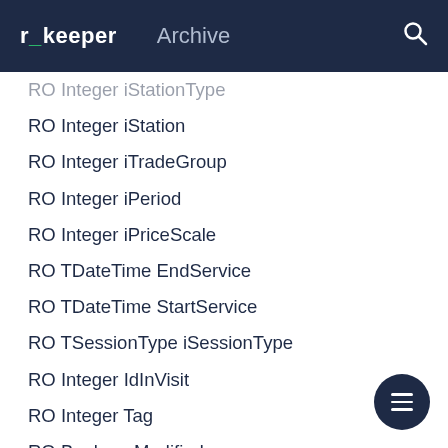r_keeper  Archive
RO Integer iStation
RO Integer iTradeGroup
RO Integer iPeriod
RO Integer iPriceScale
RO TDateTime EndService
RO TDateTime StartService
RO TSessionType iSessionType
RO Integer IdInVisit
RO Integer Tag
RO Boolean Modified
RO Integer iAuthor
RO Integer iCreator
RO String Name
RO Integer Code